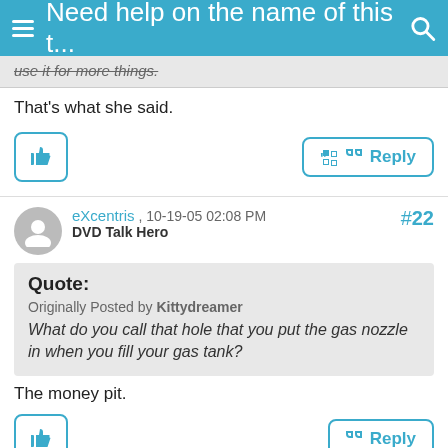Need help on the name of this t...
use it for more things.
That's what she said.
#22
eXcentris , 10-19-05 02:08 PM
DVD Talk Hero
Quote:
Originally Posted by Kittydreamer
What do you call that hole that you put the gas nozzle in when you fill your gas tank?
The money pit.